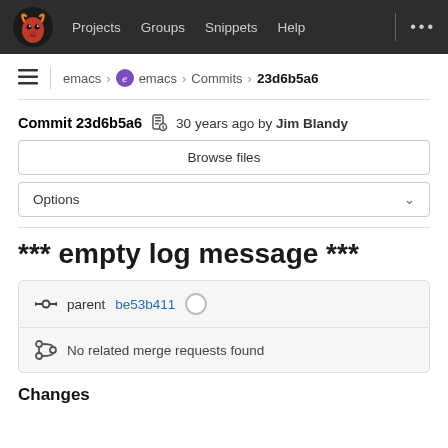Projects  Groups  Snippets  Help  ...
emacs > emacs > Commits > 23d6b5a6
Commit 23d6b5a6  30 years ago by Jim Blandy
Browse files
Options
*** empty log message ***
parent be53b411
No related merge requests found
Changes